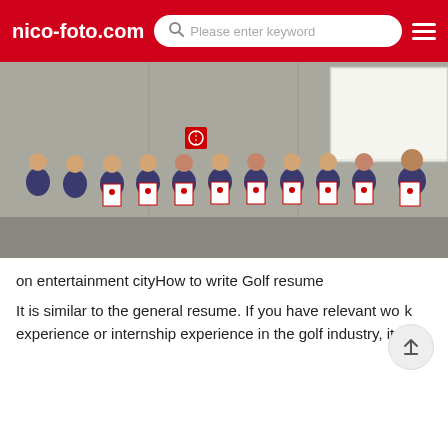nico-foto.com  [search: Please enter keyword]
[Figure (photo): Group photo of workers in blue uniforms holding red-and-white certificates/folders, standing in front of a grey wall with a projector screen visible in the background.]
on entertainment cityHow to write Golf resume
It is similar to the general resume. If you have relevant work experience or internship experience in the golf industry, it will